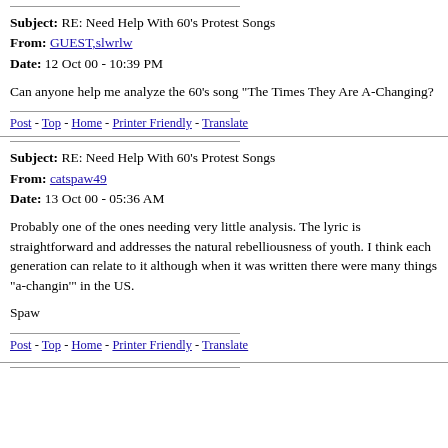Subject: RE: Need Help With 60's Protest Songs
From: GUEST,slwrlw
Date: 12 Oct 00 - 10:39 PM
Can anyone help me analyze the 60's song "The Times They Are A-Changing?
Post - Top - Home - Printer Friendly - Translate
Subject: RE: Need Help With 60's Protest Songs
From: catspaw49
Date: 13 Oct 00 - 05:36 AM
Probably one of the ones needing very little analysis. The lyric is straightforward and addresses the natural rebelliousness of youth. I think each generation can relate to it although when it was written there were many things "a-changin'" in the US.

Spaw
Post - Top - Home - Printer Friendly - Translate